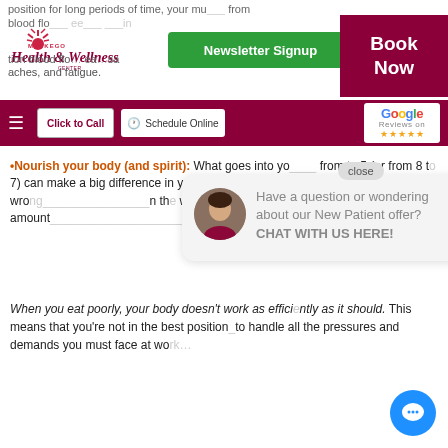position for long periods of time, your mu... blood flo... ee... aches, and fatigue.
[Figure (logo): Muskego Health & Wellness Center logo]
Newsletter Signup
Book Now
[Figure (screenshot): Navigation bar with hamburger menu, Click to Call button, Schedule Online button, and Google reviews badge]
Nourish your body (and spirit): What goes into yo... from to 5 (or from 8 to 7) can make a big difference in your stress lev... Eating the wro... n the wrong amount... ler f... you to cope wi...
[Figure (screenshot): Chat popup with avatar saying: Have a question or wondering about our New Patient offer? CHAT WITH US HERE!]
close
When you eat poorly, your body doesn't work as efficiently as it should. This means that you're not in the best position to handle all the pressures and demands you must face at wo...